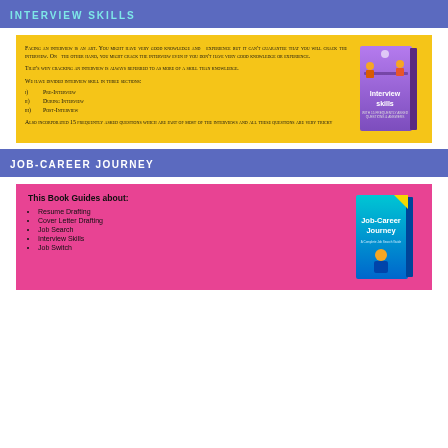INTERVIEW SKILLS
[Figure (illustration): Yellow background book advertisement for Interview Skills book. Left side has text describing interview as an art, mentions pre-interview, during interview, post-interview sections and 15 frequently asked questions. Right side shows a purple/violet book cover titled 'Interview skills' with image of two people at a table.]
JOB-CAREER JOURNEY
[Figure (illustration): Pink/magenta background book advertisement for Job-Career Journey book. Left side lists what the book guides about: Resume Drafting, Cover Letter Drafting, Job Search, Interview Skills, Job Switch. Right side shows a blue/cyan book cover titled 'Job-Career Journey'.]